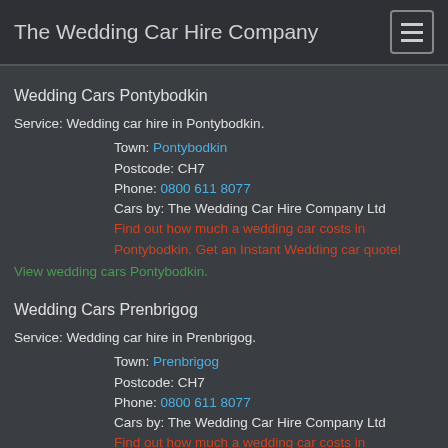The Wedding Car Hire Company
Wedding Cars Pontybodkin
Service: Wedding car hire in Pontybodkin.
Town: Pontybodkin
Postcode: CH7
Phone: 0800 611 8077
Cars by: The Wedding Car Hire Company Ltd
Find out how much a wedding car costs in Pontybodkin. Get an Instant Wedding car quote!
View wedding cars Pontybodkin.
Wedding Cars Prenbrigog
Service: Wedding car hire in Prenbrigog.
Town: Prenbrigog
Postcode: CH7
Phone: 0800 611 8077
Cars by: The Wedding Car Hire Company Ltd
Find out how much a wedding car costs in Prenbrigog. Get an Instant Wedding car quote!
View wedding cars Prenbrigog.